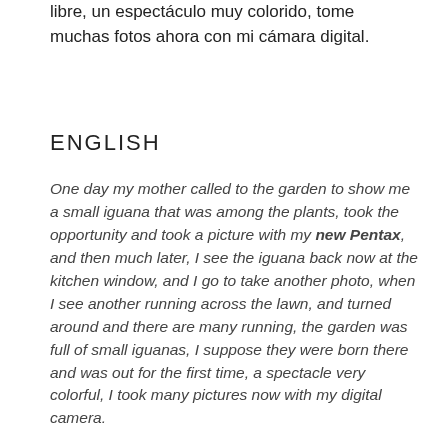libre, un espectáculo muy colorido, tome muchas fotos ahora con mi cámara digital.
ENGLISH
One day my mother called to the garden to show me a small iguana that was among the plants, took the opportunity and took a picture with my new Pentax, and then much later, I see the iguana back now at the kitchen window, and I go to take another photo, when I see another running across the lawn, and turned around and there are many running, the garden was full of small iguanas, I suppose they were born there and was out for the first time, a spectacle very colorful, I took many pictures now with my digital camera.